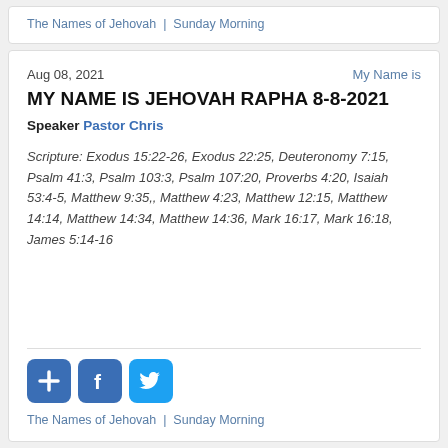The Names of Jehovah | Sunday Morning
Aug 08, 2021    My Name is
MY NAME IS JEHOVAH RAPHA 8-8-2021
Speaker Pastor Chris
Scripture: Exodus 15:22-26, Exodus 22:25, Deuteronomy 7:15, Psalm 41:3, Psalm 103:3, Psalm 107:20, Proverbs 4:20, Isaiah 53:4-5, Matthew 9:35,, Matthew 4:23, Matthew 12:15, Matthew 14:14, Matthew 14:34, Matthew 14:36, Mark 16:17, Mark 16:18, James 5:14-16
[Figure (logo): Three social sharing buttons: a blue plus/add button, a Facebook button, and a Twitter bird button]
The Names of Jehovah | Sunday Morning